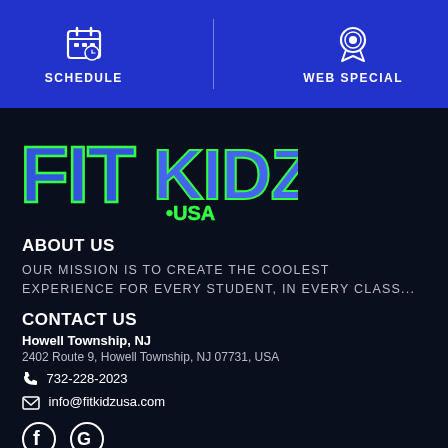SCHEDULE | WEB SPECIAL
[Figure (logo): FIT KIDZ! .USA logo in blue and green on dark background]
ABOUT US
OUR MISSION IS TO CREATE THE COOLEST EXPERIENCE FOR EVERY STUDENT, IN EVERY CLASS...
CONTACT US
Howell Township, NJ
2402 Route 9, Howell Township, NJ 07731, USA
732-228-2023
info@fitkidzusa.com
[Figure (infographic): Facebook and Google social media icons]